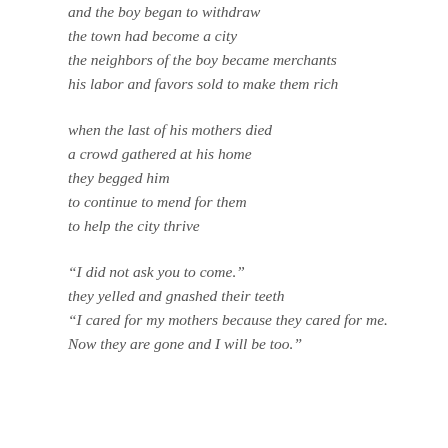and the boy began to withdraw
the town had become a city
the neighbors of the boy became merchants
his labor and favors sold to make them rich
when the last of his mothers died
a crowd gathered at his home
they begged him
to continue to mend for them
to help the city thrive
“I did not ask you to come.”
they yelled and gnashed their teeth
“I cared for my mothers because they cared for me.
Now they are gone and I will be too.”